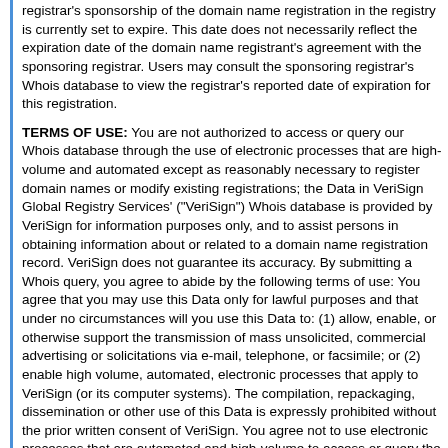registrar's sponsorship of the domain name registration in the registry is currently set to expire. This date does not necessarily reflect the expiration date of the domain name registrant's agreement with the sponsoring registrar. Users may consult the sponsoring registrar's Whois database to view the registrar's reported date of expiration for this registration.
TERMS OF USE: You are not authorized to access or query our Whois database through the use of electronic processes that are high-volume and automated except as reasonably necessary to register domain names or modify existing registrations; the Data in VeriSign Global Registry Services' ("VeriSign") Whois database is provided by VeriSign for information purposes only, and to assist persons in obtaining information about or related to a domain name registration record. VeriSign does not guarantee its accuracy. By submitting a Whois query, you agree to abide by the following terms of use: You agree that you may use this Data only for lawful purposes and that under no circumstances will you use this Data to: (1) allow, enable, or otherwise support the transmission of mass unsolicited, commercial advertising or solicitations via e-mail, telephone, or facsimile; or (2) enable high volume, automated, electronic processes that apply to VeriSign (or its computer systems). The compilation, repackaging, dissemination or other use of this Data is expressly prohibited without the prior written consent of VeriSign. You agree not to use electronic processes that are automated and high-volume to access or query the Whois database except as reasonably necessary to register domain names or modify existing registrations. VeriSign reserves the right to restrict your access to the Whois database in its sole discretion to ensure operational stability. VeriSign may restrict or terminate your access to the Whois database for failure to abide by these terms of use. VeriSign reserves the right to modify these terms at any time.
The Registrar data contains ONLY .COM, .NET, .EDU domain...